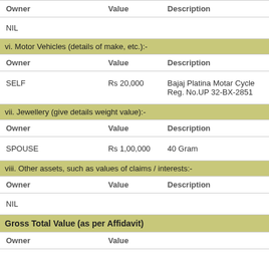| Owner | Value | Description |
| --- | --- | --- |
| NIL |  |  |
vi. Motor Vehicles (details of make, etc.):-
| Owner | Value | Description |
| --- | --- | --- |
| SELF | Rs 20,000 | Bajaj Platina Motar Cycle Reg. No.UP 32-BX-2851 |
vii. Jewellery (give details weight value):-
| Owner | Value | Description |
| --- | --- | --- |
| SPOUSE | Rs 1,00,000 | 40 Gram |
viii. Other assets, such as values of claims / interests:-
| Owner | Value | Description |
| --- | --- | --- |
| NIL |  |  |
Gross Total Value (as per Affidavit)
| Owner | Value |
| --- | --- |